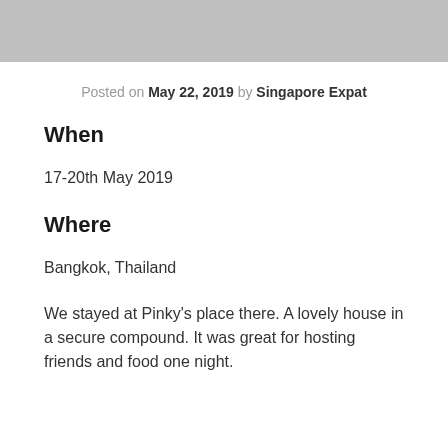Posted on May 22, 2019 by Singapore Expat
When
17-20th May 2019
Where
Bangkok, Thailand
We stayed at Pinky's place there. A lovely house in a secure compound. It was great for hosting friends and food one night.